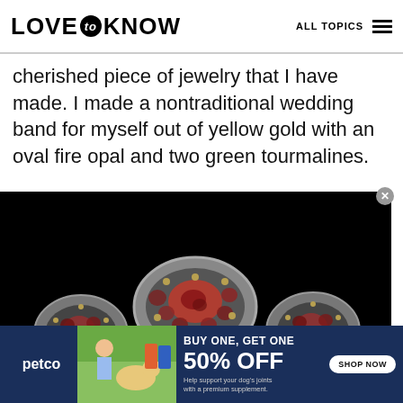LOVE to KNOW   ALL TOPICS
cherished piece of jewelry that I have made. I made a nontraditional wedding band for myself out of yellow gold with an oval fire opal and two green tourmalines.
[Figure (photo): Close-up photograph of three ornate ring settings on a dark background, each featuring oval gemstones with decorative metalwork, showing what appears to be a nontraditional wedding band with fire opal and tourmaline stones.]
[Figure (photo): Petco advertisement banner with 'BUY ONE, GET ONE 50% OFF' promotion, showing a woman with a dog and supplement products, with a 'SHOP NOW' button. Text reads: Help support your dog's joints with a premium supplement.]